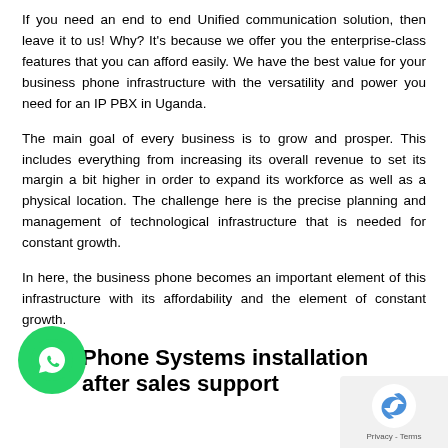If you need an end to end Unified communication solution, then leave it to us! Why? It's because we offer you the enterprise-class features that you can afford easily. We have the best value for your business phone infrastructure with the versatility and power you need for an IP PBX in Uganda.
The main goal of every business is to grow and prosper. This includes everything from increasing its overall revenue to set its margin a bit higher in order to expand its workforce as well as a physical location. The challenge here is the precise planning and management of technological infrastructure that is needed for constant growth.
In here, the business phone becomes an important element of this infrastructure with its affordability and the element of constant growth.
Phone Systems installation after sales support